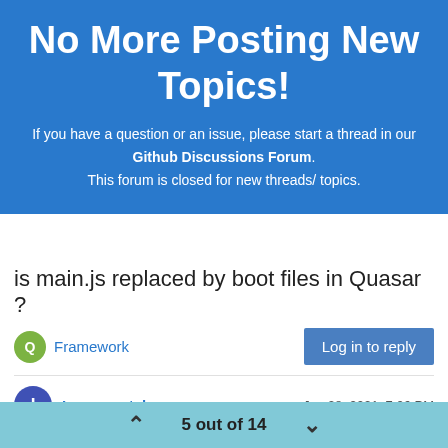No More Posting New Topics!
If you have a question or an issue, please start a thread in our Github Discussions Forum. This forum is closed for new threads/ topics.
is main.js replaced by boot files in Quasar ?
Framework
Log in to reply
Incremental
Jan 28, 2021, 7:06 PM
5 out of 14